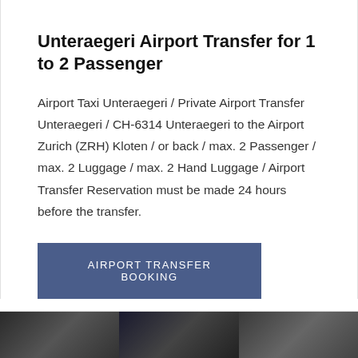Unteraegeri Airport Transfer for 1 to 2 Passenger
Airport Taxi Unteraegeri / Private Airport Transfer Unteraegeri / CH-6314 Unteraegeri to the Airport Zurich (ZRH) Kloten / or back / max. 2 Passenger / max. 2 Luggage / max. 2 Hand Luggage / Airport Transfer Reservation must be made 24 hours before the transfer.
AIRPORT TRANSFER BOOKING
[Figure (photo): Three thumbnail photos at the bottom of the page, partially visible]